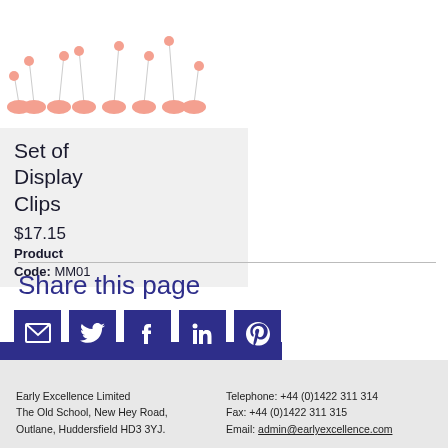[Figure (photo): Product image showing a set of display clips - small clips on suction cup bases, pink/salmon colored, arranged in a scattered grouping.]
Set of Display Clips
$17.15
Product Code: MM01
View More
Share this page
[Figure (infographic): Five social sharing icons as speech-bubble shaped buttons: Email (envelope), Twitter (bird), Facebook (f), LinkedIn (in), Pinterest (P) — all dark navy/purple colored.]
Early Excellence Limited
The Old School, New Hey Road,
Outlane, Huddersfield HD3 3YJ.
Telephone: +44 (0)1422 311 314
Fax: +44 (0)1422 311 315
Email: admin@earlyexcellence.com